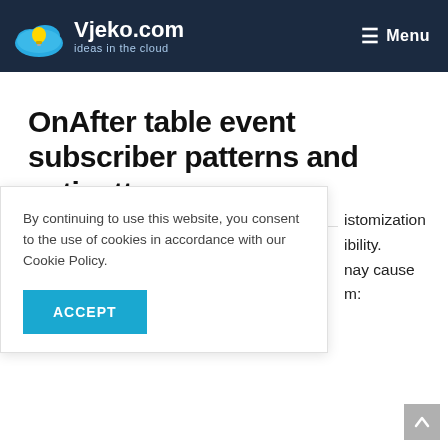Vjeko.com — ideas in the cloud | Menu
OnAfter table event subscriber patterns and antipatterns
Vjeko  -  May 17, 2016  -
By continuing to use this website, you consent to the use of cookies in accordance with our Cookie Policy.
ACCEPT
istomization ibility. nay cause m: